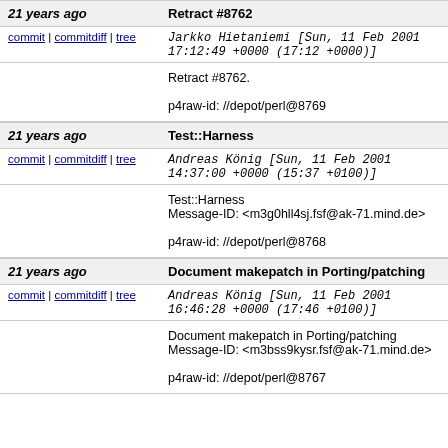21 years ago | Retract #8762
commit | commitdiff | tree   Jarkko Hietaniemi [Sun, 11 Feb 2001 17:12:49 +0000 (17:12 +0000)]
Retract #8762.

p4raw-id: //depot/perl@8769
21 years ago | Test::Harness
commit | commitdiff | tree   Andreas König [Sun, 11 Feb 2001 14:37:00 +0000 (15:37 +0100)]
Test::Harness
Message-ID: <m3g0hll4sj.fsf@ak-71.mind.de>

p4raw-id: //depot/perl@8768
21 years ago | Document makepatch in Porting/patching
commit | commitdiff | tree   Andreas König [Sun, 11 Feb 2001 16:46:28 +0000 (17:46 +0100)]
Document makepatch in Porting/patching
Message-ID: <m3bss9kysr.fsf@ak-71.mind.de>

p4raw-id: //depot/perl@8767